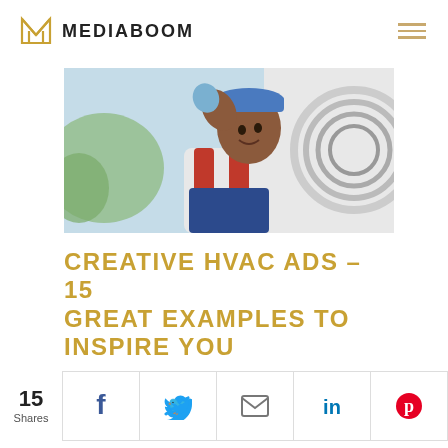MEDIABOOM
[Figure (photo): HVAC technician in red and blue overalls smiling, holding his cap, standing next to an HVAC unit on the exterior of a building]
CREATIVE HVAC ADS – 15 GREAT EXAMPLES TO INSPIRE YOU
15 Shares
[Figure (infographic): Social share bar with icons for Facebook, Twitter, Email, LinkedIn, and Pinterest]